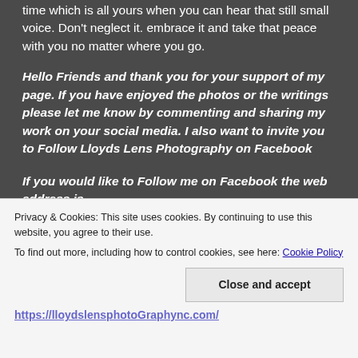time which is all yours when you can hear that still small voice. Don't neglect it. embrace it and take that peace with you no matter where you go.
Hello Friends and thank you for your support of my page. If you have enjoyed the photos or the writings please let me know by commenting and sharing my work on your social media. I also want to invite you to Follow Lloyds Lens Photography on Facebook
If you would like to Follow me on Facebook the web address is
Privacy & Cookies: This site uses cookies. By continuing to use this website, you agree to their use. To find out more, including how to control cookies, see here: Cookie Policy
Close and accept
https://lloydslensphotoGraphync.com/